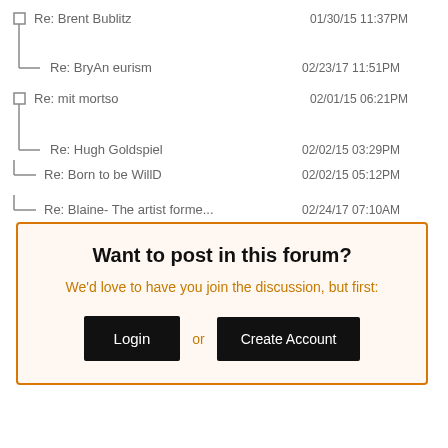Re: Brent Bublitz — 01/30/15 11:37PM
Re: BryAn eurism — 02/23/17 11:51PM
Re: mit mortso — 02/01/15 06:21PM
Re: Hugh Goldspiel — 02/02/15 03:29PM
Re: Born to be WillD — 02/02/15 05:12PM
Re: Blaine- The artist forme... — 02/24/17 07:10AM
Want to post in this forum?
We'd love to have you join the discussion, but first:
Login or Create Account